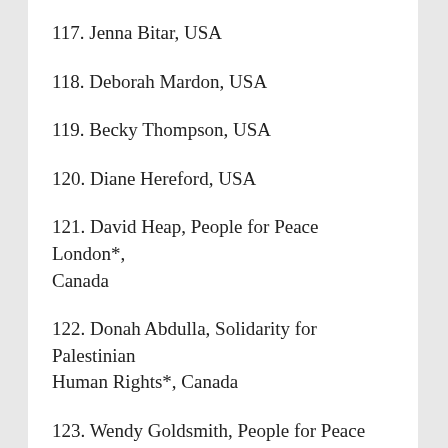117. Jenna Bitar, USA
118. Deborah Mardon, USA
119. Becky Thompson, USA
120. Diane Hereford, USA
121. David Heap, People for Peace London*, Canada
122. Donah Abdulla, Solidarity for Palestinian Human Rights*, Canada
123. Wendy Goldsmith, People for Peace